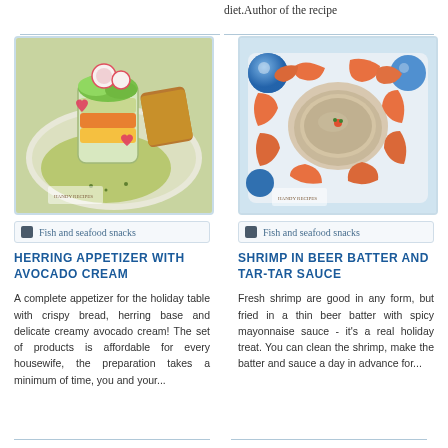diet.Author of the recipe
[Figure (photo): Herring appetizer with avocado cream dish photo - layered salad in glass jar with radish, lettuce, and avocado cream sauce on plate]
Fish and seafood snacks
HERRING APPETIZER WITH AVOCADO CREAM
A complete appetizer for the holiday table with crispy bread, herring base and delicate creamy avocado cream! The set of products is affordable for every housewife, the preparation takes a minimum of time, you and your...
[Figure (photo): Shrimp in beer batter with tar-tar sauce - cooked shrimp arranged around a bowl of dipping sauce]
Fish and seafood snacks
SHRIMP IN BEER BATTER AND TAR-TAR SAUCE
Fresh shrimp are good in any form, but fried in a thin beer batter with spicy mayonnaise sauce - it's a real holiday treat. You can clean the shrimp, make the batter and sauce a day in advance for...